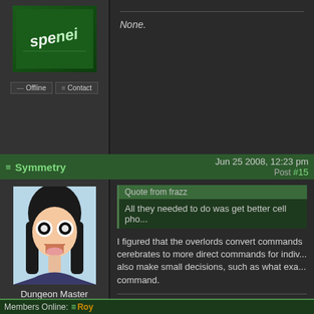[Figure (screenshot): Forum avatar with green background and stylized logo text]
None.
≡ Symmetry    Jun 25 2008, 12:23 pm    Post #15
[Figure (illustration): Anime-style character avatar with black hair, wide eyes, open mouth, light blue background]
Dungeon Master
Quote from frazz
All they needed to do was get better cell pho...
I figured that the overlords convert commands cerebrates to more direct commands for indiv... also make small decisions, such as what exa... command.
Yeah, I always assumed they acted as sort of a... would send messages to overlords, and they w... the swarm.
[Figure (illustration): Forum signature icons: two smiley egg emoticons with decorative bars]
Members Online:  ≡ Roy